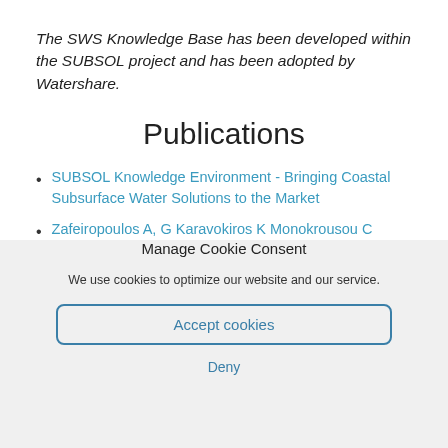The SWS Knowledge Base has been developed within the SUBSOL project and has been adopted by Watershare.
Publications
SUBSOL Knowledge Environment - Bringing Coastal Subsurface Water Solutions to the Market
Zafeiropoulos A, G Karavokiros K Monokrousou C
Manage Cookie Consent
We use cookies to optimize our website and our service.
Accept cookies
Deny